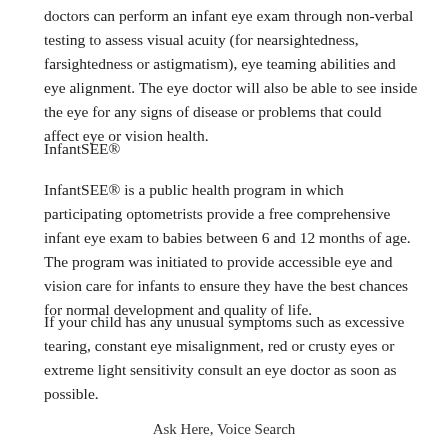doctors can perform an infant eye exam through non-verbal testing to assess visual acuity (for nearsightedness, farsightedness or astigmatism), eye teaming abilities and eye alignment. The eye doctor will also be able to see inside the eye for any signs of disease or problems that could affect eye or vision health.
InfantSEE®
InfantSEE® is a public health program in which participating optometrists provide a free comprehensive infant eye exam to babies between 6 and 12 months of age. The program was initiated to provide accessible eye and vision care for infants to ensure they have the best chances for normal development and quality of life.
If your child has any unusual symptoms such as excessive tearing, constant eye misalignment, red or crusty eyes or extreme light sensitivity consult an eye doctor as soon as possible.
Ask Here, Voice Search